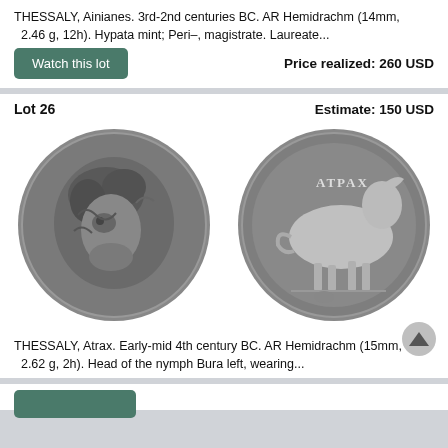THESSALY, Ainianes. 3rd-2nd centuries BC. AR Hemidrachm (14mm, 2.46 g, 12h). Hypata mint; Peri–, magistrate. Laureate...
Watch this lot
Price realized: 260 USD
Lot 26
Estimate: 150 USD
[Figure (photo): Two ancient silver coins from Thessaly, Atrax. Left coin shows head of nymph facing left with curly hair. Right coin shows a horse standing with Greek inscription ATPAX.]
THESSALY, Atrax. Early-mid 4th century BC. AR Hemidrachm (15mm, 2.62 g, 2h). Head of the nymph Bura left, wearing...